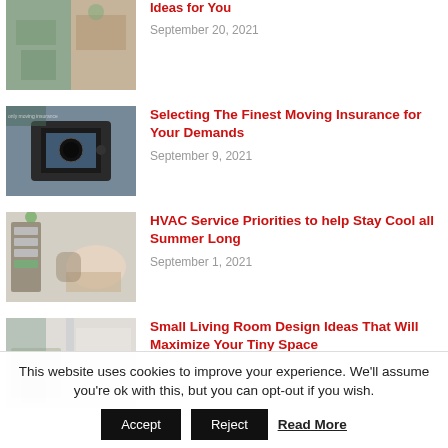[Figure (photo): Interior room scene, partially cropped at top]
September 20, 2021
[Figure (photo): Person holding a DSLR camera]
Selecting The Finest Moving Insurance for Your Demands
September 9, 2021
[Figure (photo): Woman sitting on sofa near shelving unit]
HVAC Service Priorities to help Stay Cool all Summer Long
September 1, 2021
[Figure (photo): Small living room interior]
Small Living Room Design Ideas That Will Maximize Your Tiny Space
This website uses cookies to improve your experience. We'll assume you're ok with this, but you can opt-out if you wish.